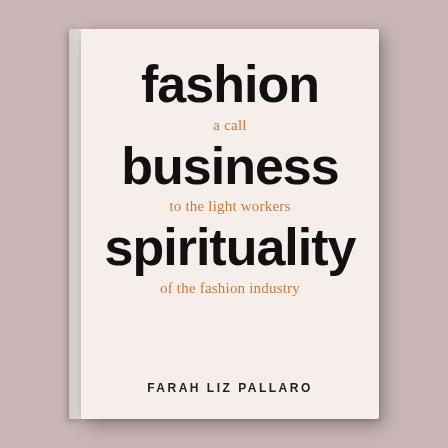[Figure (illustration): Book cover for 'Fashion Business Spirituality: a call to the light workers of the fashion industry' by Farah Liz Pallaro. The cover features a light cream/white background with large bold black sans-serif text for the three main words (fashion, business, spirituality) interspersed with smaller italic terracotta/copper colored text for the subtitle phrases (a call, to the light workers, of the fashion industry). The author's name is printed in small spaced uppercase letters at the bottom. The book is shown in a 3D perspective with a visible spine on the left, set against a muted mauve/pink background.]